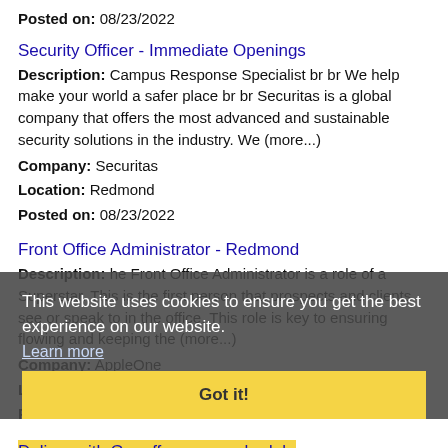Posted on: 08/23/2022
Security Officer - Immediate Openings
Description: Campus Response Specialist br br We help make your world a safer place br br Securitas is a global company that offers the most advanced and sustainable security solutions in the industry. We (more...)
Company: Securitas
Location: Redmond
Posted on: 08/23/2022
Front Office Administrator - Redmond
Description: he Front Office Administrator is a role of a Superstar. This is the first person that prospects and clients see or speak to in the office. This role is key to ensuring flowing and keeping the (more...)
Company: AppleOne
Location: Redmond
Posted on: 08/23/2022
Deliver with Gopuff on your schedule
Description: Do more than make ends meet. Deliver with Gopuff and get paid to deliver what your neighbors need from a Gopuff facility near you. With one centralized pickup location and smaller
This website uses cookies to ensure you get the best experience on our website. Learn more Got it!